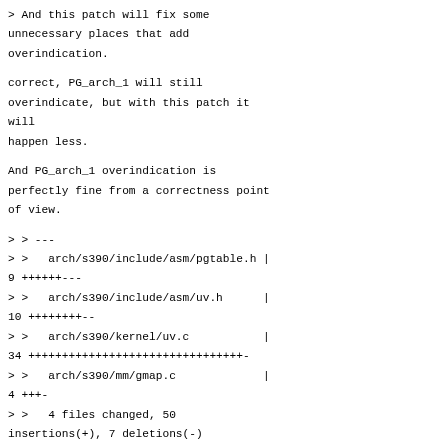> And this patch will fix some unnecessary places that add overindication.
correct, PG_arch_1 will still overindicate, but with this patch it will
happen less.
And PG_arch_1 overindication is perfectly fine from a correctness point of view.
> > ---
> >   arch/s390/include/asm/pgtable.h | 9 ++++++---
> >   arch/s390/include/asm/uv.h      | 10 ++++++++--
> >   arch/s390/kernel/uv.c           | 34 ++++++++++++++++++++++++++++++++-
> >   arch/s390/mm/gmap.c             | 4 +++-
> >   4 files changed, 50 insertions(+), 7 deletions(-)
> >
> > diff --git a/arch/s390/include/asm/pgtable.h b/arch/s390/include/asm/pgtable.h
> > index dcac7b2df72c..0f1af2232ebe 100644